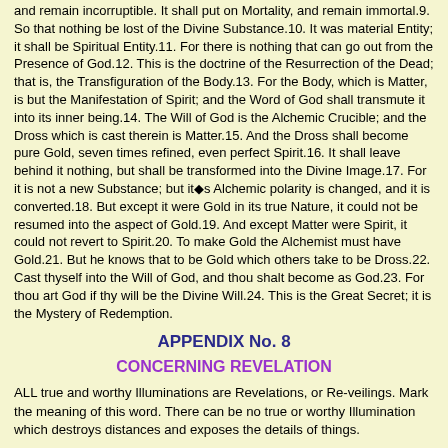and remain incorruptible. It shall put on Mortality, and remain immortal.9. So that nothing be lost of the Divine Substance.10. It was material Entity; it shall be Spiritual Entity.11. For there is nothing that can go out from the Presence of God.12. This is the doctrine of the Resurrection of the Dead; that is, the Transfiguration of the Body.13. For the Body, which is Matter, is but the Manifestation of Spirit; and the Word of God shall transmute it into its inner being.14. The Will of God is the Alchemic Crucible; and the Dross which is cast therein is Matter.15. And the Dross shall become pure Gold, seven times refined, even perfect Spirit.16. It shall leave behind it nothing, but shall be transformed into the Divine Image.17. For it is not a new Substance; but it's Alchemic polarity is changed, and it is converted.18. But except it were Gold in its true Nature, it could not be resumed into the aspect of Gold.19. And except Matter were Spirit, it could not revert to Spirit.20. To make Gold the Alchemist must have Gold.21. But he knows that to be Gold which others take to be Dross.22. Cast thyself into the Will of God, and thou shalt become as God.23. For thou art God if thy will be the Divine Will.24. This is the Great Secret; it is the Mystery of Redemption.
APPENDIX No. 8
CONCERNING REVELATION
ALL true and worthy Illuminations are Revelations, or Re-veilings. Mark the meaning of this word. There can be no true or worthy Illumination which destroys distances and exposes the details of things.
Look at this Landscape. Behold how its Mountains and Forests are